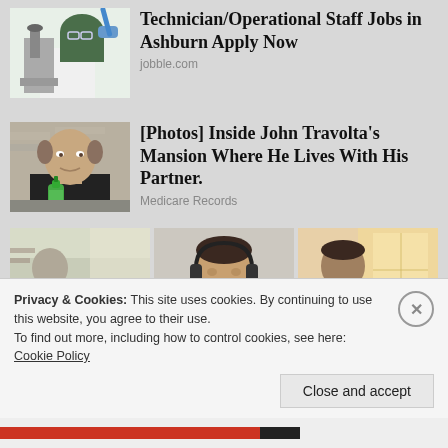[Figure (photo): Woman in hijab looking through microscope in lab setting]
Technician/Operational Staff Jobs in Ashburn Apply Now
jobble.com
[Figure (photo): Man holding green bottle outdoors]
[Photos] Inside John Travolta's Mansion Where He Lives With His Partner.
Medicare Records
[Figure (photo): Three-panel image showing people in various indoor settings]
Privacy & Cookies: This site uses cookies. By continuing to use this website, you agree to their use.
To find out more, including how to control cookies, see here: Cookie Policy
Close and accept